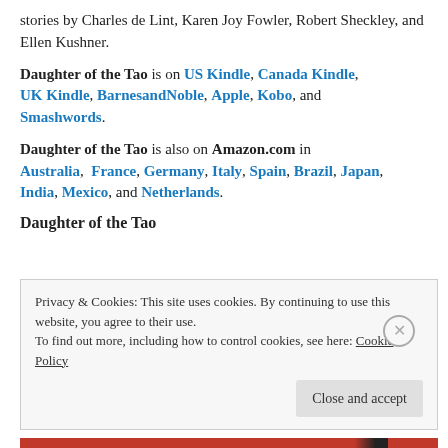stories by Charles de Lint, Karen Joy Fowler, Robert Sheckley, and Ellen Kushner.
Daughter of the Tao is on US Kindle, Canada Kindle, UK Kindle, BarnesandNoble, Apple, Kobo, and Smashwords.
Daughter of the Tao is also on Amazon.com in Australia, France, Germany, Italy, Spain, Brazil, Japan, India, Mexico, and Netherlands.
Daughter of the Tao
Privacy & Cookies: This site uses cookies. By continuing to use this website, you agree to their use.
To find out more, including how to control cookies, see here: Cookie Policy
Close and accept